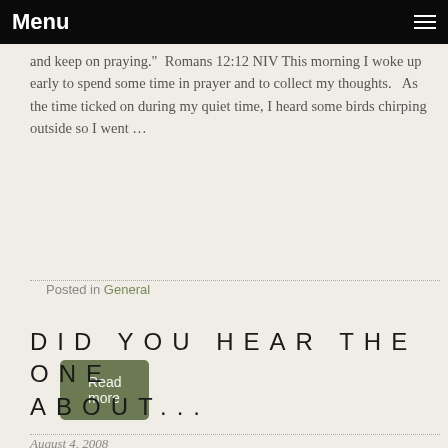Menu
and keep on praying."  Romans 12:12 NIV This morning I woke up early to spend some time in prayer and to collect my thoughts.   As the time ticked on during my quiet time, I heard some birds chirping outside so I went …
Read more
Posted in General
DID YOU HEAR THE ONE ABOUT...
August 4, 2008